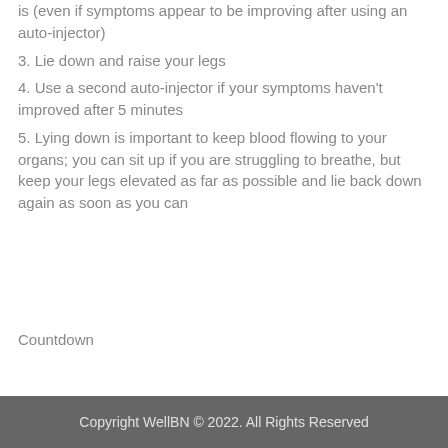is (even if symptoms appear to be improving after using an auto-injector)
3. Lie down and raise your legs
4. Use a second auto-injector if your symptoms haven't improved after 5 minutes
5. Lying down is important to keep blood flowing to your organs; you can sit up if you are struggling to breathe, but keep your legs elevated as far as possible and lie back down again as soon as you can
Countdown
Copyright WellBN © 2022. All Rights Reserved